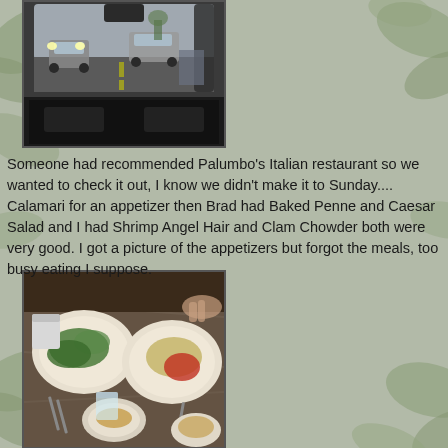[Figure (photo): View from inside a car through the windshield showing street traffic with cars and people on sidewalk]
Someone had recommended Palumbo's Italian restaurant so we wanted to check it out, I know we didn't make it to Sunday.... Calamari for an appetizer then Brad had Baked Penne and Caesar Salad and I had Shrimp Angel Hair and Clam Chowder both were very good. I got a picture of the appetizers but forgot the meals, too busy eating I suppose.
[Figure (photo): Restaurant table with plates of food including salad, calamari appetizer, and other dishes on a granite table]